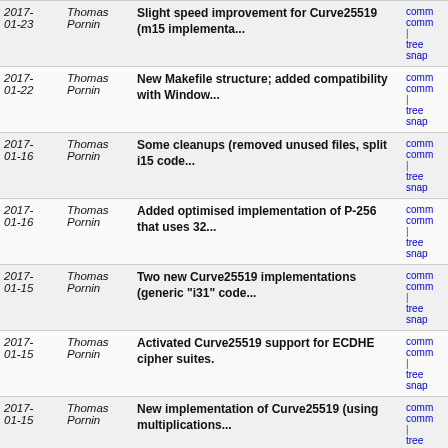| Date | Author | Message | Links |
| --- | --- | --- | --- |
| 2017-01-23 | Thomas Pornin | Slight speed improvement for Curve25519 (m15 implementa... | comm comm | tree snap |
| 2017-01-22 | Thomas Pornin | New Makefile structure; added compatibility with Window... | comm comm | tree snap |
| 2017-01-16 | Thomas Pornin | Some cleanups (removed unused files, split i15 code... | comm comm | tree snap |
| 2017-01-16 | Thomas Pornin | Added optimised implementation of P-256 that uses 32... | comm comm | tree snap |
| 2017-01-15 | Thomas Pornin | Two new Curve25519 implementations (generic "i31" code... | comm comm | tree snap |
| 2017-01-15 | Thomas Pornin | Activated Curve25519 support for ECDHE cipher suites. | comm comm | tree snap |
| 2017-01-15 | Thomas Pornin | New implementation of Curve25519 (using multiplications... | comm comm | tree snap |
| 2017-01-15 | Thomas Pornin | New basic implementation of Curve25519 (generic i15... | comm comm | tree snap |
| 2017-01-13 | Thomas Pornin | Added API for external hashing of ServerKeyExchange... | comm comm | tree snap |
| 2017-01-13 | Thomas Pornin | More optimisations for EC P-256 "i15" (specialised... | comm comm | tree snap |